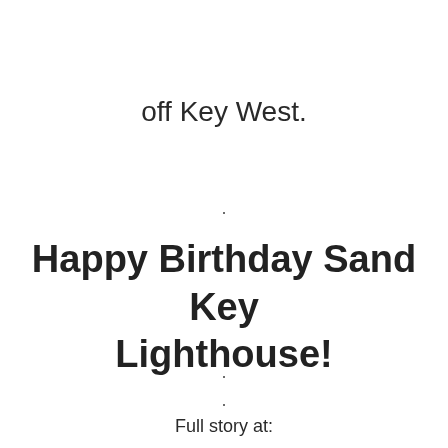off Key West.
.
Happy Birthday Sand Key Lighthouse!
.
.
Full story at: